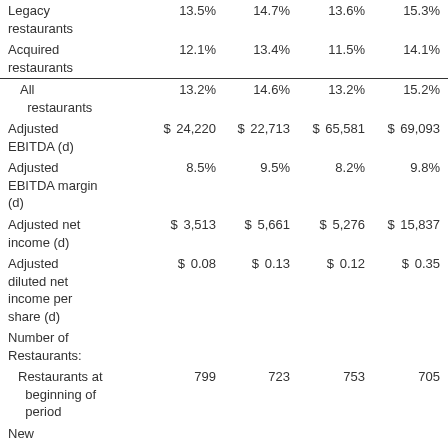|  | Col1 | Col2 | Col3 | Col4 |
| --- | --- | --- | --- | --- |
| Legacy restaurants | 13.5% | 14.7% | 13.6% | 15.3% |
| Acquired restaurants | 12.1% | 13.4% | 11.5% | 14.1% |
| All restaurants | 13.2% | 14.6% | 13.2% | 15.2% |
| Adjusted EBITDA (d) | $ 24,220 | $ 22,713 | $ 65,581 | $ 69,093 |
| Adjusted EBITDA margin (d) | 8.5% | 9.5% | 8.2% | 9.8% |
| Adjusted net income (d) | $ 3,513 | $ 5,661 | $ 5,276 | $ 15,837 |
| Adjusted diluted net income per share (d) | $ 0.08 | $ 0.13 | $ 0.12 | $ 0.35 |
| Number of Restaurants: |  |  |  |  |
| Restaurants at beginning of period | 799 | 723 | 753 | 705 |
| New |  |  |  |  |